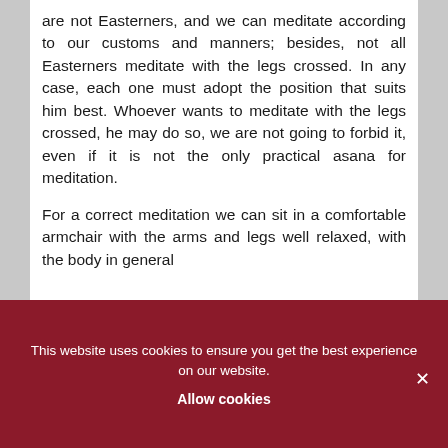are not Easterners, and we can meditate according to our customs and manners; besides, not all Easterners meditate with the legs crossed. In any case, each one must adopt the position that suits him best. Whoever wants to meditate with the legs crossed, he may do so, we are not going to forbid it, even if it is not the only practical asana for meditation.

For a correct meditation we can sit in a comfortable armchair with the arms and legs well relaxed, with the body in general
This website uses cookies to ensure you get the best experience on our website.
Allow cookies